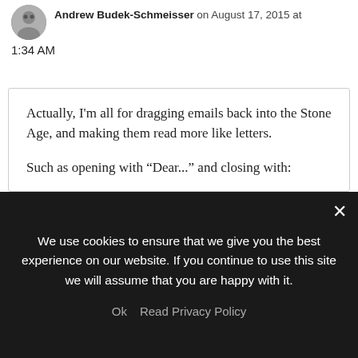Andrew Budek-Schmeisser on August 17, 2015 at 1:34 AM
Actually, I'm all for dragging emails back into the Stone Age, and making them read more like letters.

Such as opening with “Dear...” and closing with:

“I am (or remain),

Yours very truly,”

I'm not a formal person by any means, but I think that the “structure” of emails is eroding courtesy in communications. No opening salutation, no closing
We use cookies to ensure that we give you the best experience on our website. If you continue to use this site we will assume that you are happy with it.
Ok   Read Privacy Policy